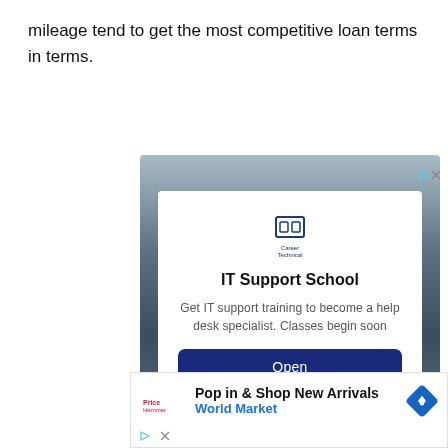mileage tend to get the most competitive loan terms in terms.
[Figure (screenshot): Advertisement for Career Technical Institute — IT Support School. Shows CTI logo, headline 'IT Support School', body text 'Get IT support training to become a help desk specialist. Classes begin soon', and a dark blue 'Open' button. The ad has a dark blue/grey gradient border frame with close and play controls in the top right.]
[Figure (screenshot): Second advertisement showing 'Pop in & Shop New Arrivals' for World Market, with a Price/Walmart-style logo on the left, cyan/blue 'World Market' subtitle, and a blue diamond arrow icon on the right.]